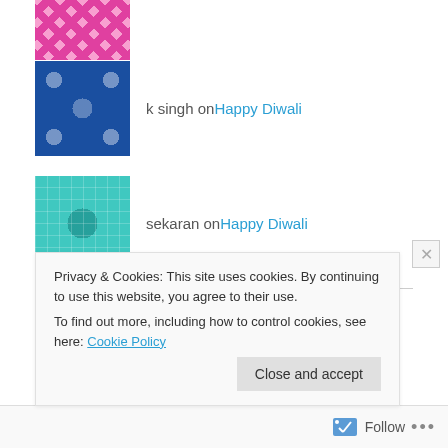[Figure (illustration): Pink geometric patterned avatar (partially visible at top)]
k singh on Happy Diwali
[Figure (illustration): Blue geometric patterned avatar]
sekaran on Happy Diwali
[Figure (illustration): Teal geometric patterned avatar]
anthem benazir bhutto bobby jindal brides dandiya dasami diversity diwali diya durga festival Festivals fun haneef mohammed hindu India kali karwa Chauth lakshmi Lohri makar sankrati married masti Mathematics genius music Navratri
Privacy & Cookies: This site uses cookies. By continuing to use this website, you agree to their use.
To find out more, including how to control cookies, see here: Cookie Policy